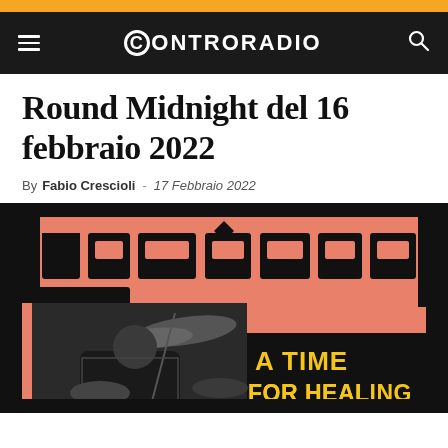CONTRORADIO
Round Midnight del 16 febbraio 2022
By Fabio Crescioli - 17 Febbraio 2022
[Figure (illustration): Album cover art with salmon/pink background and black geometric Arabic-style lettering. Bottom left shows a black-and-white photo of a drummer playing at a kit. Yellow text reads 'A TIME FOR HEALING' in bold on the right side.]